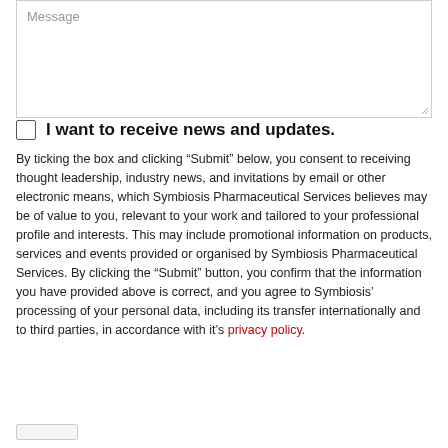[Figure (screenshot): A textarea form field with placeholder text 'Message' and a resize handle in the bottom-right corner.]
I want to receive news and updates.
By ticking the box and clicking “Submit” below, you consent to receiving thought leadership, industry news, and invitations by email or other electronic means, which Symbiosis Pharmaceutical Services believes may be of value to you, relevant to your work and tailored to your professional profile and interests. This may include promotional information on products, services and events provided or organised by Symbiosis Pharmaceutical Services. By clicking the “Submit” button, you confirm that the information you have provided above is correct, and you agree to Symbiosis’ processing of your personal data, including its transfer internationally and to third parties, in accordance with it’s privacy policy.